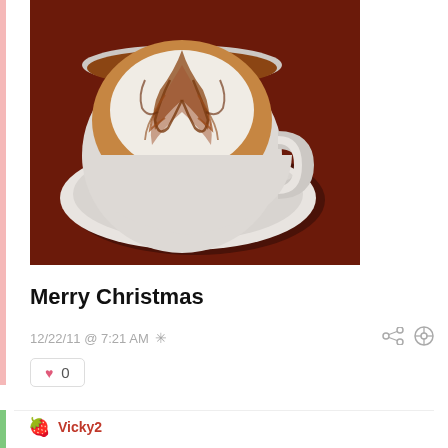[Figure (photo): Top-down view of a latte art coffee cup on a saucer, placed on a dark red surface. The foam displays a leaf/fern pattern in brown and white.]
Merry Christmas
12/22/11 @ 7:21 AM *
♥ 0
Vicky2